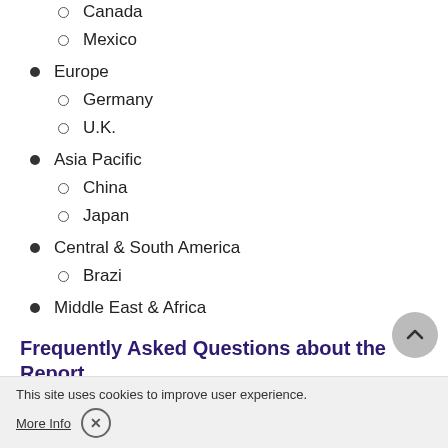Canada
Mexico
Europe
Germany
U.K.
Asia Pacific
China
Japan
Central & South America
Brazi
Middle East & Africa
Frequently Asked Questions about the Report
This site uses cookies to improve user experience.
More Info